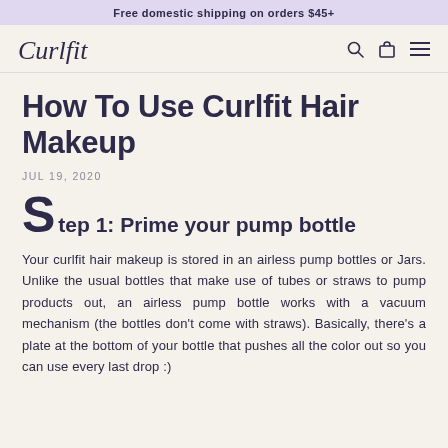Free domestic shipping on orders $45+
[Figure (logo): Curlfit cursive logo in top left; search, bag, and menu icons on the right]
How To Use Curlfit Hair Makeup
JUL 19, 2020
Step 1: Prime your pump bottle
Your curlfit hair makeup is stored in an airless pump bottles or Jars. Unlike the usual bottles that make use of tubes or straws to pump products out, an airless pump bottle works with a vacuum mechanism (the bottles don't come with straws). Basically, there's a plate at the bottom of your bottle that pushes all the color out so you can use every last drop :)